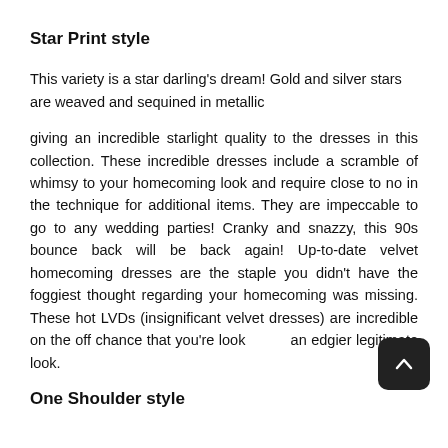Star Print style
This variety is a star darling's dream! Gold and silver stars are weaved and sequined in metallic
giving an incredible starlight quality to the dresses in this collection. These incredible dresses include a scramble of whimsy to your homecoming look and require close to no in the technique for additional items. They are impeccable to go to any wedding parties! Cranky and snazzy, this 90s bounce back will be back again! Up-to-date velvet homecoming dresses are the staple you didn't have the foggiest thought regarding your homecoming was missing. These hot LVDs (insignificant velvet dresses) are incredible on the off chance that you're looking an edgier legitimate look.
One Shoulder style